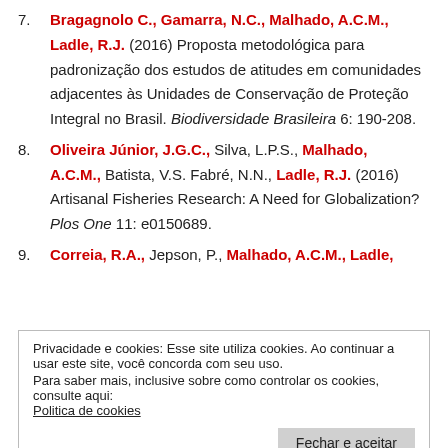7. Bragagnolo C., Gamarra, N.C., Malhado, A.C.M., Ladle, R.J. (2016) Proposta metodológica para padronização dos estudos de atitudes em comunidades adjacentes às Unidades de Conservação de Proteção Integral no Brasil. Biodiversidade Brasileira 6: 190-208.
8. Oliveira Júnior, J.G.C., Silva, L.P.S., Malhado, A.C.M., Batista, V.S. Fabré, N.N., Ladle, R.J. (2016) Artisanal Fisheries Research: A Need for Globalization? Plos One 11: e0150689.
9. Correia, R.A., Jepson, P., Malhado, A.C.M., Ladle,
Privacidade e cookies: Esse site utiliza cookies. Ao continuar a usar este site, você concorda com seu uso.
Para saber mais, inclusive sobre como controlar os cookies, consulte aqui:
Politica de cookies
Fechar e aceitar
Bragagnolo, C., Jepson, P., Ladle, R.J. (2016) The